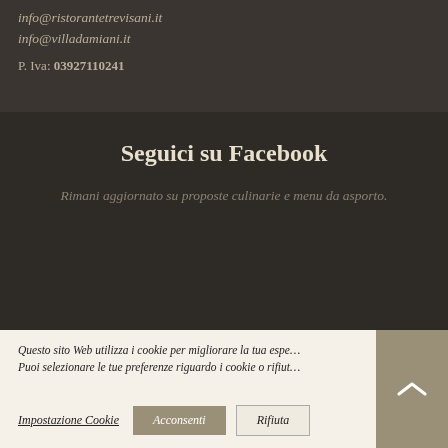info@ristorantetrevisani.it
info@villadamiani.it
P. Iva: 03927110241
Seguici su Facebook
Rimani aggiornato su proposte culinarie e menu da asporto.
Questo sito Web utilizza i cookie per migliorare la tua espe...
Puoi selezionare le tue preferenze riguardo i cookie o rifiut...
Impostazione Cookie   Acconsenti   Rifiuta